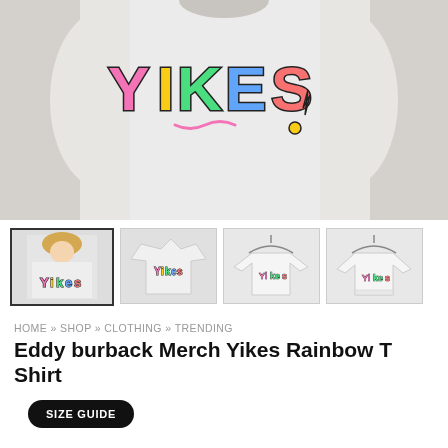[Figure (photo): Close-up of white t-shirt with colorful 'Yikes' rainbow graphic print, worn by a person, cropped to show chest area only]
[Figure (photo): Four product thumbnail images: (1) woman wearing Yikes t-shirt, (2) flat lay white t-shirt with Yikes graphic, (3) long-sleeve white sweatshirt with Yikes graphic on hanger, (4) white sweatshirt with Yikes graphic on hanger]
HOME » SHOP » CLOTHING » TRENDING
Eddy burback Merch Yikes Rainbow T Shirt
SIZE GUIDE
Style*
[Figure (illustration): Row of clothing style icon silhouettes: t-shirt, t-shirt variant, tank top, long-sleeve, hoodie]